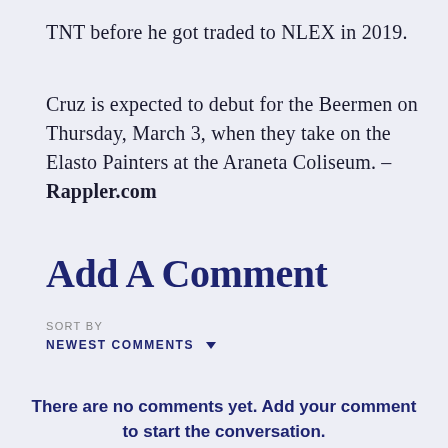TNT before he got traded to NLEX in 2019.
Cruz is expected to debut for the Beermen on Thursday, March 3, when they take on the Elasto Painters at the Araneta Coliseum. – Rappler.com
Add A Comment
SORT BY
NEWEST COMMENTS
There are no comments yet. Add your comment to start the conversation.